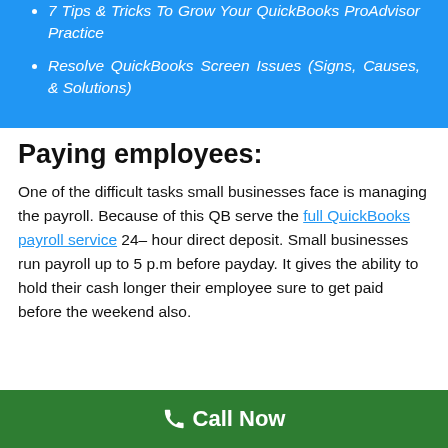7 Tips & Tricks To Grow Your QuickBooks ProAdvisor Practice
Resolve QuickBooks Screen Issues (Signs, Causes, & Solutions)
Paying employees:
One of the difficult tasks small businesses face is managing the payroll. Because of this QB serve the full QuickBooks payroll service 24– hour direct deposit. Small businesses run payroll up to 5 p.m before payday. It gives the ability to hold their cash longer their employee sure to get paid before the weekend also.
Call Now